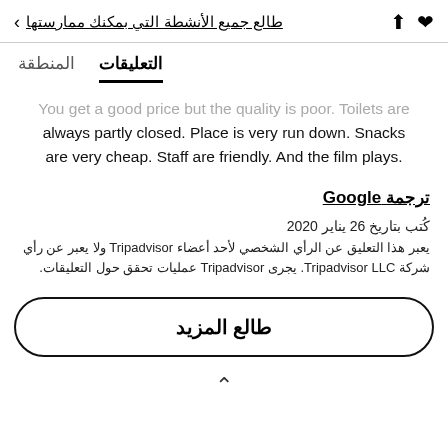طالع جميع الأنشطة التي بمكنك ممارستها
التعليقات  المنطقة
You get a good price but the quality is poor. Toilets are always partly closed. Place is very run down. Snacks are very cheap. Staff are friendly. And the film plays.
ترجمة Google
كُتب بتاريخ 26 يناير 2020
يعبر هذا التعليق عن الرأي الشخصي لأحد أعضاء Tripadvisor ولا يعبر عن رأي شركة Tripadvisor LLC. يجرى Tripadvisor عمليات تحقق حول التعليقات.
طالع المزيد